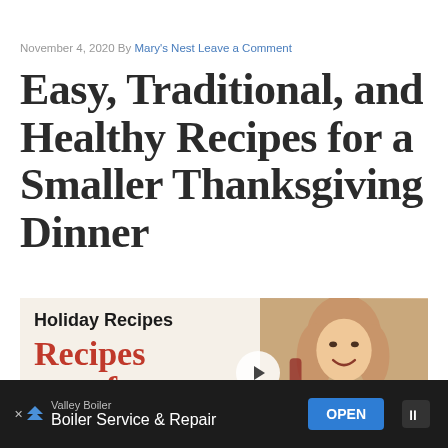November 4, 2020 By Mary's Nest Leave a Comment
Easy, Traditional, and Healthy Recipes for a Smaller Thanksgiving Dinner
[Figure (photo): Holiday Recipes thumbnail image with text 'Holiday Recipes / Recipes for a' in red and black on light background, beside a photo of a smiling blonde woman at a holiday dinner table]
Valley Boiler – Boiler Service & Repair – OPEN